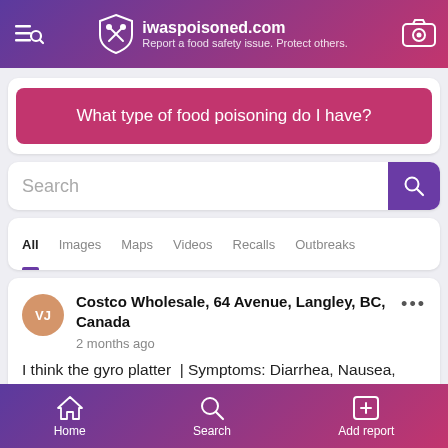iwaspoisoned.com — Report a food safety issue. Protect others.
What type of food poisoning do I have?
Search
All
Images
Maps
Videos
Recalls
Outbreaks
Costco Wholesale, 64 Avenue, Langley, BC, Canada
2 months ago
I think the gyro platter | Symptoms: Diarrhea, Nausea, Vomiting
Home   Search   Add report